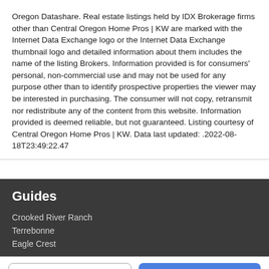Oregon Datashare. Real estate listings held by IDX Brokerage firms other than Central Oregon Home Pros | KW are marked with the Internet Data Exchange logo or the Internet Data Exchange thumbnail logo and detailed information about them includes the name of the listing Brokers. Information provided is for consumers' personal, non-commercial use and may not be used for any purpose other than to identify prospective properties the viewer may be interested in purchasing. The consumer will not copy, retransmit nor redistribute any of the content from this website. Information provided is deemed reliable, but not guaranteed. Listing courtesy of Central Oregon Home Pros | KW. Data last updated: .2022-08-18T23:49:22.47
Guides
Crooked River Ranch
Terrebonne
Eagle Crest
Take a Tour
Ask A Question